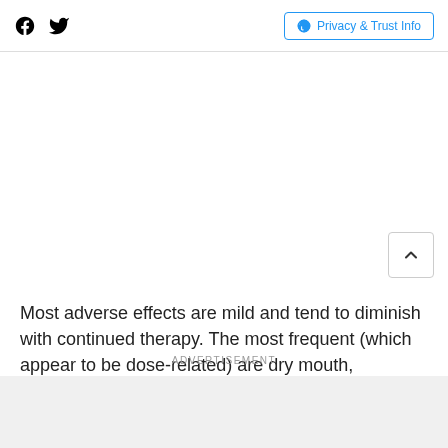Social icons and Privacy & Trust Info
Most adverse effects are mild and tend to diminish with continued therapy. The most frequent (which appear to be dose-related) are dry mouth, occurring in about 40 of 100 patients; drowsiness, about 33 in 100; dizziness, about in 100; constipation and sedation, each about 10 in 100.
ADVERTISEMENT